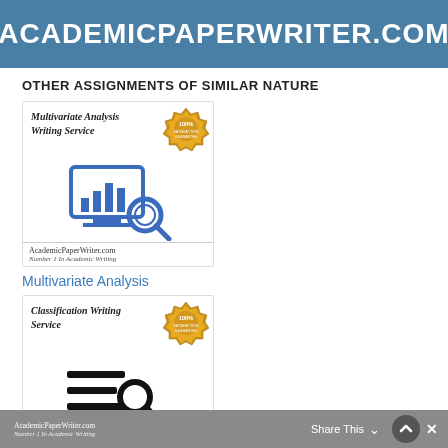ACADEMICPAPERWRITER.COM
OTHER ASSIGNMENTS OF SIMILAR NATURE
[Figure (illustration): Multivariate Analysis Writing Service card with a blue monitor/chart icon and magnifying glass, satisfaction guarantee badge, AcademicPaperWriter.com branding]
Multivariate Analysis
[Figure (illustration): Classification Writing Service card with a black list/magnifying glass icon, satisfaction guarantee badge, AcademicPaperWriter.com branding]
AcademicPaperWriter.com  Number 1 In Academic Writing   Share This  ×